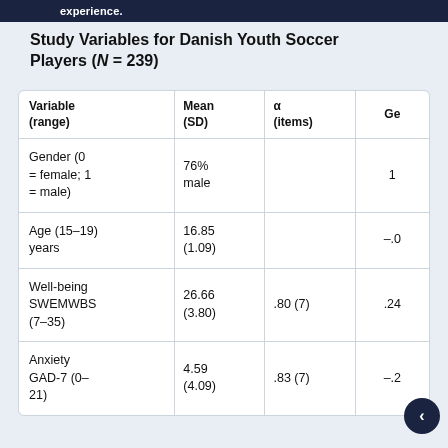experience.
Study Variables for Danish Youth Soccer Players (N = 239)
| Variable (range) | Mean (SD) | α (items) | Ge |
| --- | --- | --- | --- |
| Gender (0 = female; 1 = male) | 76% male |  | 1 |
| Age (15–19) years | 16.85 (1.09) |  | -.0 |
| Well-being SWEMWBS (7–35) | 26.66 (3.80) | .80 (7) | .24 |
| Anxiety GAD-7 (0–21) | 4.59 (4.09) | .83 (7) | -.2 |